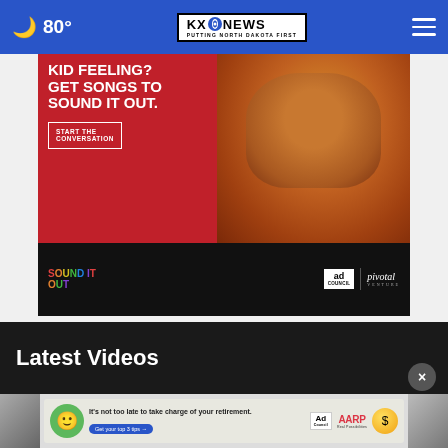🌙 80° | KXNEWS PUTTING NORTH DAKOTA FIRST | ☰
[Figure (photo): Advertisement: 'KID FEELING? GET SONGS TO SOUND IT OUT. START THE CONVERSATION' — ad council / pivotal campaign with photo of young woman covering one eye]
Latest Videos
[Figure (photo): AARP retirement ad banner: 'It's not too late to take charge of your retirement. Get your top 3 tips →' with green mascot character, Ad Council logo, AARP logo, and coin icon]
×